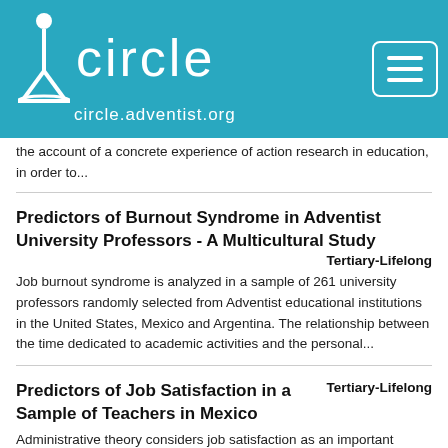[Figure (logo): CIRCLE logo with white triangle/pin icon and text 'circle' and 'circle.adventist.org' on teal background, with hamburger menu button top right]
the account of a concrete experience of action research in education, in order to...
Predictors of Burnout Syndrome in Adventist University Professors - A Multicultural Study
Tertiary-Lifelong
Job burnout syndrome is analyzed in a sample of 261 university professors randomly selected from Adventist educational institutions in the United States, Mexico and Argentina. The relationship between the time dedicated to academic activities and the personal...
Predictors of Job Satisfaction in a Sample of Teachers in Mexico
Tertiary-Lifelong
Administrative theory considers job satisfaction as an important dependent variable for the good performance of institutions. The main purpose of this study was to determine the predictors of job satisfaction in a sample of teachers in